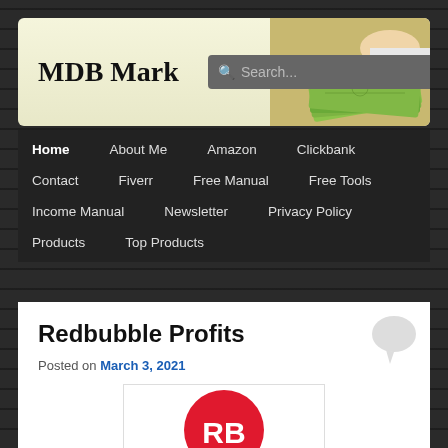MDB Mark
[Figure (screenshot): Search box with magnifying glass icon]
[Figure (photo): Hand holding money/cash bills]
Home | About Me | Amazon | Clickbank | Contact | Fiverr | Free Manual | Free Tools | Income Manual | Newsletter | Privacy Policy | Products | Top Products
Redbubble Profits
Posted on March 3, 2021
[Figure (logo): Redbubble RB logo - red circle with white RB letters]